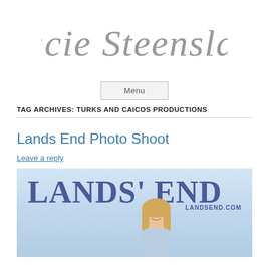[Figure (logo): Cursive script logo reading 'Stacie Steensland' in gray]
Menu
TAG ARCHIVES: TURKS AND CAICOS PRODUCTIONS
Lands End Photo Shoot
Leave a reply
[Figure (photo): Lands End catalog cover photo showing a smiling blonde woman with text 'LANDS' END' and 'LANDSEND.COM']